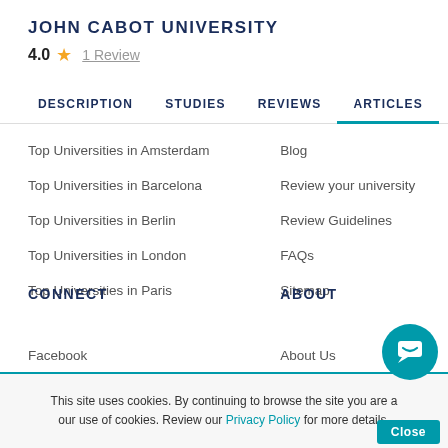JOHN CABOT UNIVERSITY
4.0 ★ 1 Review
DESCRIPTION   STUDIES   REVIEWS   ARTICLES
Top Universities in Amsterdam
Blog
Top Universities in Barcelona
Review your university
Top Universities in Berlin
Review Guidelines
Top Universities in London
FAQs
Top Universities in Paris
Sitemap
CONNECT
ABOUT
Facebook
About Us
LinkedIn
Advertise
This site uses cookies. By continuing to browse the site you are agreeing to our use of cookies. Review our Privacy Policy for more details.